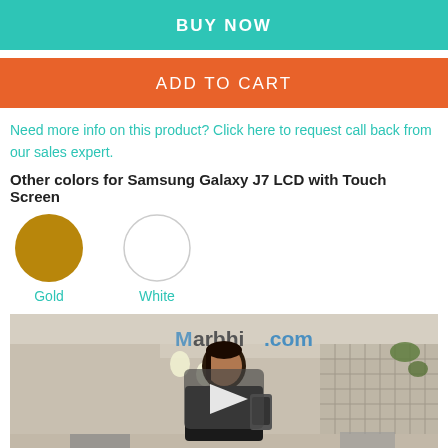BUY NOW
ADD TO CART
Need more info on this product? Click here to request call back from our sales expert.
Other colors for Samsung Galaxy J7 LCD with Touch Screen
[Figure (illustration): Two color option circles: Gold (filled dark yellow/gold) and White (empty white circle with border), each labeled below]
[Figure (screenshot): Video thumbnail showing a woman in a Marbhi.com branded setting holding a phone, with a play button overlay in the center]